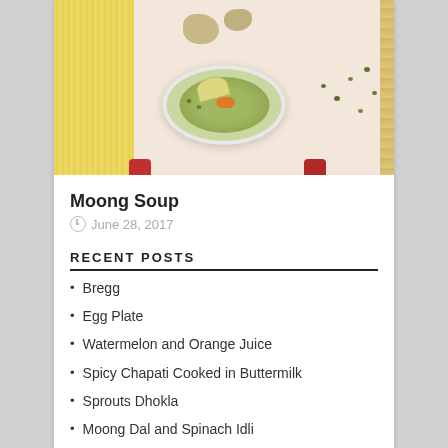[Figure (photo): A bowl of Moong Soup with lemon wedge and carrot, on a yellow mat with ginger and mung beans scattered around, on a wooden surface.]
Moong Soup
June 28, 2017
RECENT POSTS
Bregg
Egg Plate
Watermelon and Orange Juice
Spicy Chapati Cooked in Buttermilk
Sprouts Dhokla
Moong Dal and Spinach Idli